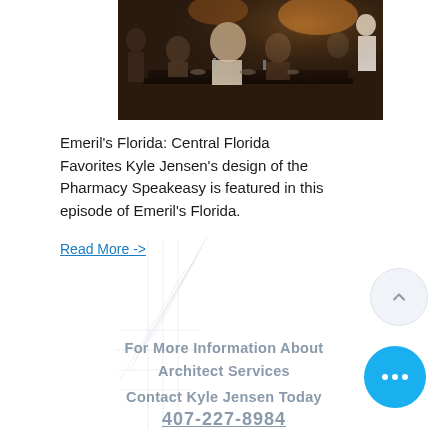[Figure (photo): Restaurant dining scene with people seated at a long table being served by staff in a dimly lit upscale restaurant interior]
Emeril's Florida: Central Florida Favorites Kyle Jensen's design of the Pharmacy Speakeasy is featured in this episode of Emeril's Florida.
Read More ->
For More Information About Architect Services
Contact Kyle Jensen Today
407-227-8984